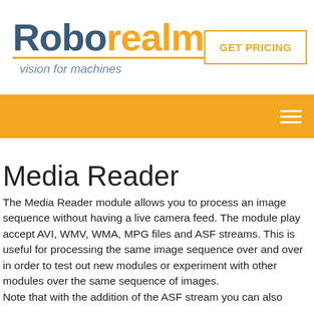RoboRealm — vision for machines | GET PRICING
[Figure (logo): RoboRealm logo with 'Robo' in dark blue-gray bold, 'realm' in orange, orange underline, and italic tagline 'vision for machines']
Media Reader
The Media Reader module allows you to process an image sequence without having a live camera feed. The module play accept AVI, WMV, WMA, MPG files and ASF streams. This is useful for processing the same image sequence over and over in order to test out new modules or experiment with other modules over the same sequence of images.
Note that with the addition of the ASF stream you can also